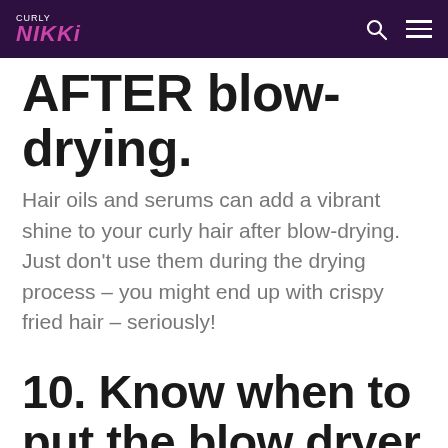CURLY NIKKI
AFTER blow-drying.
Hair oils and serums can add a vibrant shine to your curly hair after blow-drying. Just don't use them during the drying process – you might end up with crispy fried hair – seriously!
10. Know when to put the blow dryer down.
Blow drying can be almost addictive